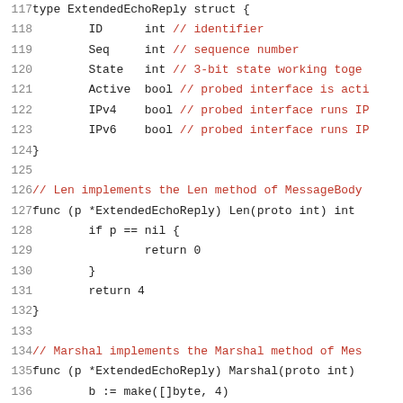Code snippet showing Go struct ExtendedEchoReply and associated Len and Marshal methods, lines 117-137